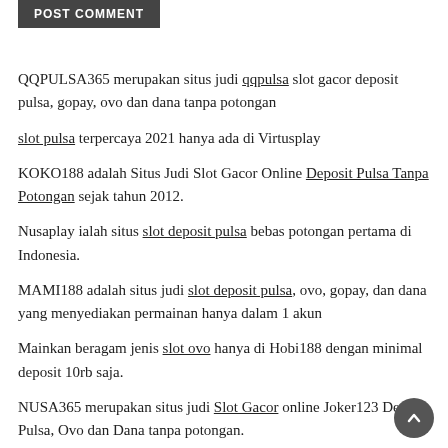POST COMMENT
QQPULSA365 merupakan situs judi qqpulsa slot gacor deposit pulsa, gopay, ovo dan dana tanpa potongan
slot pulsa terpercaya 2021 hanya ada di Virtusplay
KOKO188 adalah Situs Judi Slot Gacor Online Deposit Pulsa Tanpa Potongan sejak tahun 2012.
Nusaplay ialah situs slot deposit pulsa bebas potongan pertama di Indonesia.
MAMI188 adalah situs judi slot deposit pulsa, ovo, gopay, dan dana yang menyediakan permainan hanya dalam 1 akun
Mainkan beragam jenis slot ovo hanya di Hobi188 dengan minimal deposit 10rb saja.
NUSA365 merupakan situs judi Slot Gacor online Joker123 Deposit Pulsa, Ovo dan Dana tanpa potongan.
thetallestman selaku link alternatif dari Pulsa303 menawarkan